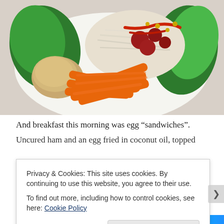[Figure (photo): A white plate with baby carrot sticks, a scoop of hummus, and a salad with romaine lettuce, shredded cabbage, cherry tomatoes with ketchup/dressing, on a light gray surface.]
And breakfast this morning was egg “sandwiches”.
Uncured ham and an egg fried in coconut oil, topped
Privacy & Cookies: This site uses cookies. By continuing to use this website, you agree to their use.
To find out more, including how to control cookies, see here: Cookie Policy
Close and accept